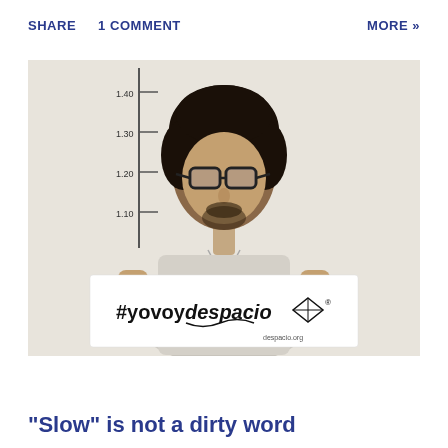SHARE   1 COMMENT   MORE »
[Figure (photo): A man standing against a wall with a height measurement chart, holding a white banner that reads '#yovoydespacio® despacio.org' with a kite logo]
"Slow" is not a dirty word